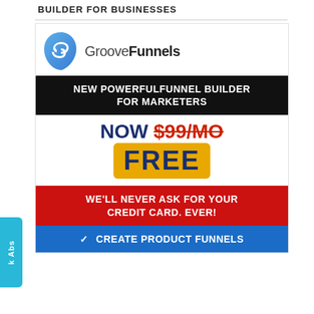BUILDER FOR BUSINESSES
[Figure (logo): GrooveFunnels logo with blue G-shaped icon and text 'GrooveFunnels']
NEW POWERFULFUNNEL BUILDER FOR MARKETERS
NOW $99/MO FREE
WE'LL NEVER ASK FOR YOUR CREDIT CARD. EVER!
✓ CREATE PRODUCT FUNNELS